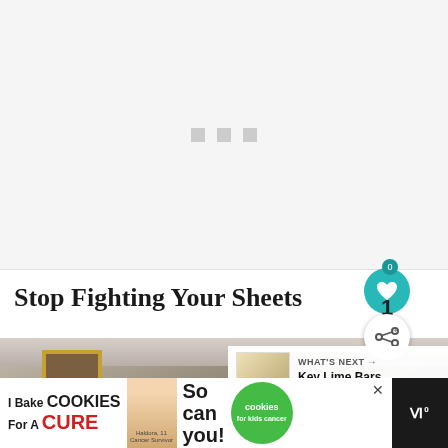[Figure (photo): Large image placeholder area with loading indicator (three small grey squares) on white/light grey background]
Stop Fighting Your Sheets
[Figure (photo): Photo of a room interior with a framed painting on a grey/taupe wall. What's Next overlay showing Key Lime Bars Recipe thumbnail.]
[Figure (other): Advertisement banner: I Bake COOKIES For A CURE - Haldora, 11 Cancer Survivor - So can you! cookies for kids cancer. Close button. WW logo.]